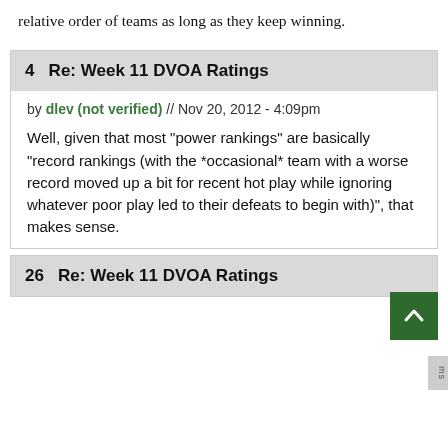relative order of teams as long as they keep winning.
4  Re: Week 11 DVOA Ratings
by dlev (not verified) // Nov 20, 2012 - 4:09pm
Well, given that most "power rankings" are basically "record rankings (with the *occasional* team with a worse record moved up a bit for recent hot play while ignoring whatever poor play led to their defeats to begin with)", that makes sense.
26  Re: Week 11 DVOA Ratings